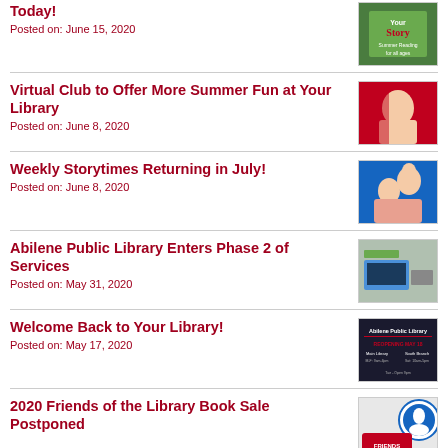Today!
Posted on: June 15, 2020
Virtual Club to Offer More Summer Fun at Your Library
Posted on: June 8, 2020
Weekly Storytimes Returning in July!
Posted on: June 8, 2020
Abilene Public Library Enters Phase 2 of Services
Posted on: May 31, 2020
Welcome Back to Your Library!
Posted on: May 17, 2020
2020 Friends of the Library Book Sale Postponed